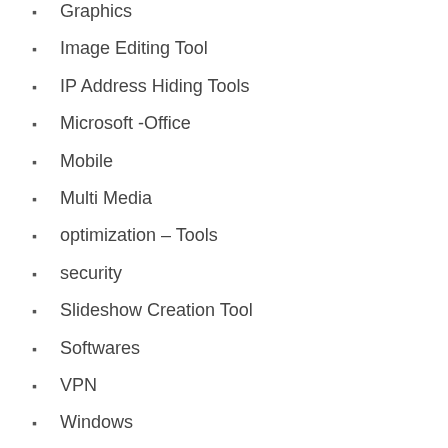Graphics
Image Editing Tool
IP Address Hiding Tools
Microsoft -Office
Mobile
Multi Media
optimization – Tools
security
Slideshow Creation Tool
Softwares
VPN
Windows
META
Log in
Entries feed